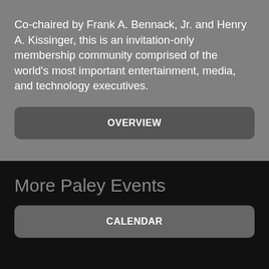Co-chaired by Frank A. Bennack, Jr. and Henry A. Kissinger, this is an invitation-only membership community comprised of the world's most important entertainment, media, and technology executives.
[Figure (other): Button labeled OVERVIEW with dark gray rounded rectangle background]
More Paley Events
[Figure (other): Button labeled CALENDAR with gray rounded rectangle background]